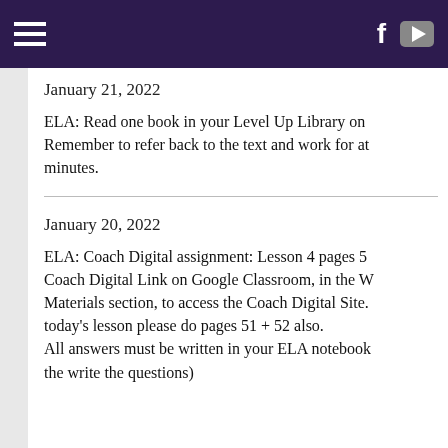Navigation header with hamburger menu, Facebook icon, YouTube icon
January 21, 2022
ELA: Read one book in your Level Up Library on Remember to refer back to the text and work for at minutes.
January 20, 2022
ELA: Coach Digital assignment: Lesson 4 pages 5 Coach Digital Link on Google Classroom, in the W Materials section, to access the Coach Digital Site. today's lesson please do pages 51 + 52 also. All answers must be written in your ELA notebook the write the questions)